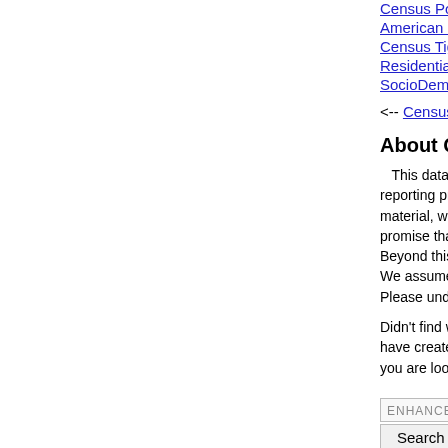Census Population...
American Commu...
Census Tiger/Line...
Residential Energ...
SocioDemograph...
<-- Census & Der...
About Quality, A...
This data may... reporting private s... material, we canr... promise that usin... Beyond this, we r... We assume no lia... Please understan...
Didn't find what y... have created 100... you are looking fo...
[Figure (screenshot): Search box enhanced by Google with Search button]
[Figure (other): Red plus button]
Michael R. Meus...